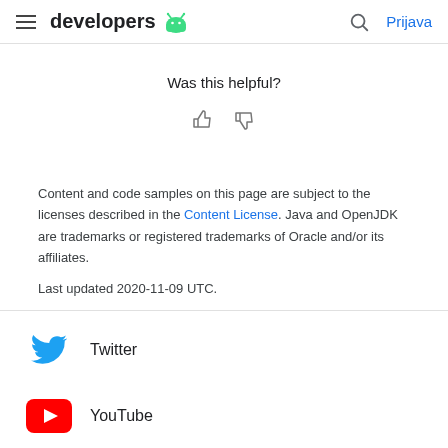developers [Android logo] | [search icon] Prijava
Was this helpful?
[Figure (other): Thumbs up and thumbs down feedback icons]
Content and code samples on this page are subject to the licenses described in the Content License. Java and OpenJDK are trademarks or registered trademarks of Oracle and/or its affiliates.
Last updated 2020-11-09 UTC.
Twitter
YouTube
LinkedIn